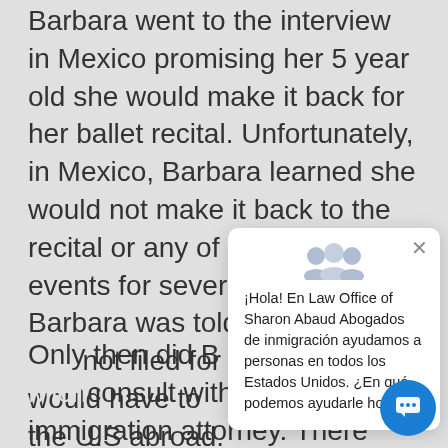Barbara went to the interview in Mexico promising her 5 year old she would make it back for her ballet recital. Unfortunately, in Mexico, Barbara learned she would not make it back to the recital or any of her kids' events for several years. Barbara was told that since she had not filed for a waiver, she would have to remain outside the U.S. while waiting abroad.
Only then did Barbara and Michael consult with an immigration attorney. There they learned that Barbara could not come to the U.S.
[Figure (screenshot): Chat popup widget overlay showing a Spanish language greeting from Law Office of Sharon Abaud immigration law firm, with a group icon, close button, and message text.]